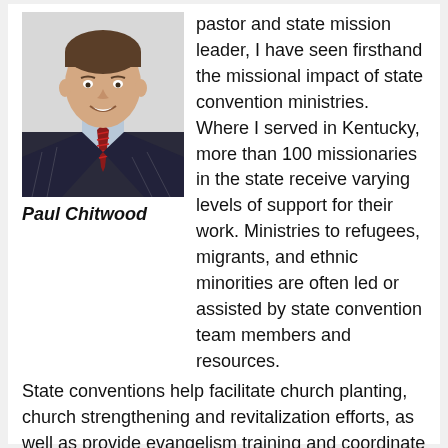[Figure (photo): Headshot of Paul Chitwood, a man in a dark pinstripe suit with a red patterned tie, smiling, against a light background.]
Paul Chitwood
pastor and state mission leader, I have seen firsthand the missional impact of state convention ministries. Where I served in Kentucky, more than 100 missionaries in the state receive varying levels of support for their work. Ministries to refugees, migrants, and ethnic minorities are often led or assisted by state convention team members and resources. State conventions help facilitate church planting, church strengthening and revitalization efforts, as well as provide evangelism training and coordinate Disaster Relief ministry. In many states, collegiate work is led by the state convention and support is also provided for the ministry of local Baptist associations.
One of our adopted daughters was rescued and kept safe by